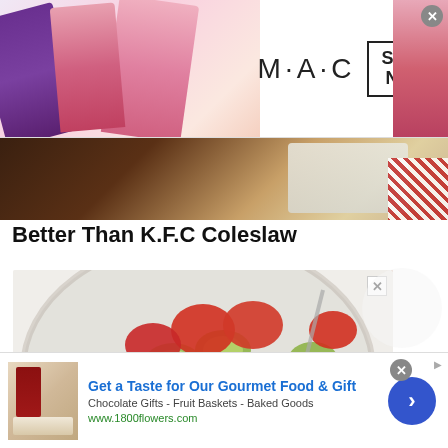[Figure (photo): MAC Cosmetics advertisement banner showing colorful lipsticks on the left and MAC logo with SHOP NOW box on the right]
[Figure (photo): Partial food photo showing a baking dish with coleslaw ingredients on a wooden surface with red checkered fabric]
Better Than K.F.C Coleslaw
[Figure (photo): Bowl of salad with sliced tomatoes, cucumbers, and onions with a spoon, on a light background]
[Figure (photo): Bottom advertisement for 1800flowers.com showing a gourmet food and gift basket. Headline: Get a Taste for Our Gourmet Food & Gift. Subtext: Chocolate Gifts - Fruit Baskets - Baked Goods. URL: www.1800flowers.com]